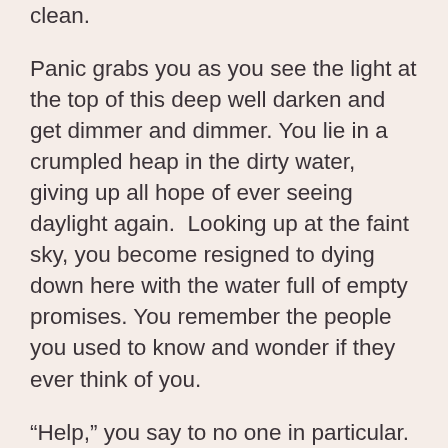clean.
Panic grabs you as you see the light at the top of this deep well darken and get dimmer and dimmer. You lie in a crumpled heap in the dirty water, giving up all hope of ever seeing daylight again.  Looking up at the faint sky, you become resigned to dying down here with the water full of empty promises. You remember the people you used to know and wonder if they ever think of you.
“Help,” you say to no one in particular.
Suddenly you hear voices but recoil in shame. You’re dirty, bruised and feel unworthy of help.
“Why should someone waste their time helping me?” you wonder.  “Nobody’s going to help me.” You sit in the darkness, feeling helpless and